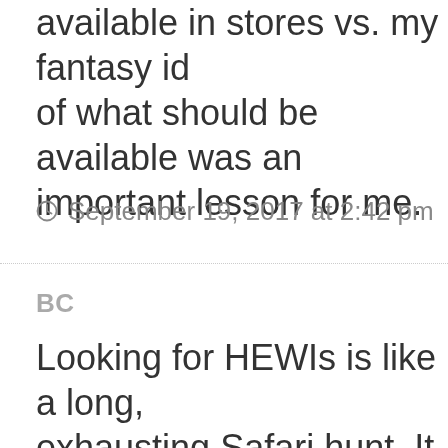available in stores vs. my fantasy idea of what should be available was an important lesson for me.
September 19, 2017 at 2:42 pm
BC
Looking for HEWIs is like a long, exhausting Safari hunt. It wears me I keep my eyes peeled but don't go an exhaustive search.